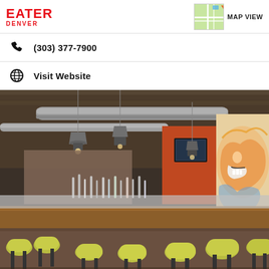EATER DENVER
(303) 377-7900
Visit Website
[Figure (photo): Interior of a restaurant/bar with yellow-green bar stools around a long wooden bar, pendant lights, exposed ductwork, orange accent wall, TV, and colorful mural on the right wall.]